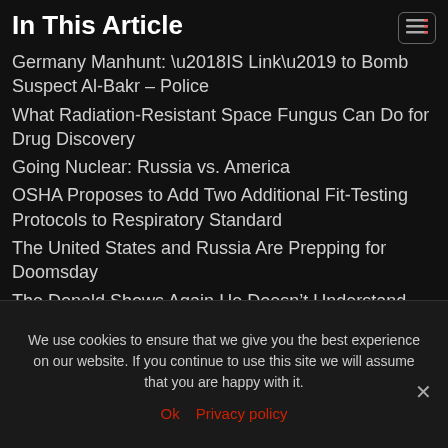In This Article
Germany Manhunt: ‘IS Link’ to Bomb Suspect Al-Bakr – Police
What Radiation-Resistant Space Fungus Can Do for Drug Discovery
Going Nuclear: Russia vs. America
OSHA Proposes to Add Two Additional Fit-Testing Protocols to Respiratory Standard
The United States and Russia Are Prepping for Doomsday
The Donald Shows Again He Doesn’t Understand
We use cookies to ensure that we give you the best experience on our website. If you continue to use this site we will assume that you are happy with it.
Ok  Privacy policy